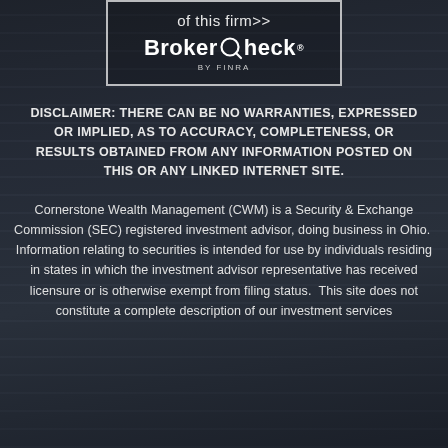[Figure (logo): BrokerCheck by FINRA logo inside a bordered box with 'of this firm >>' text above it]
DISCLAIMER:  THERE CAN BE NO WARRANTIES, EXPRESSED OR IMPLIED, AS TO ACCURACY, COMPLETENESS, OR RESULTS OBTAINED FROM ANY INFORMATION POSTED ON THIS OR ANY LINKED INTERNET SITE.
Cornerstone Wealth Management (CWM) is a Security & Exchange Commission (SEC) registered investment advisor, doing business in Ohio.  Information relating to securities is intended for use by individuals residing in states in which the investment advisor representative has received licensure or is otherwise exempt from filing status.  This site does not constitute a complete description of our investment services and is for information purposes only.